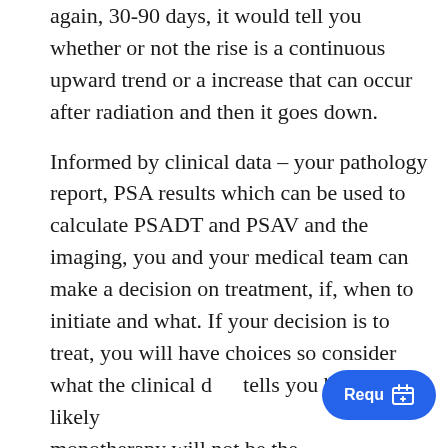again, 30-90 days, it would tell you whether or not the rise is a continuous upward trend or a increase that can occur after radiation and then it goes down.
Informed by clinical data – your pathology report, PSA results which can be used to calculate PSADT and PSAV and the imaging, you and your medical team can make a decision on treatment, if, when to initiate and what. If your decision is to treat, you will have choices so consider what the clinical data tells you but most likely monotherapy will not be the